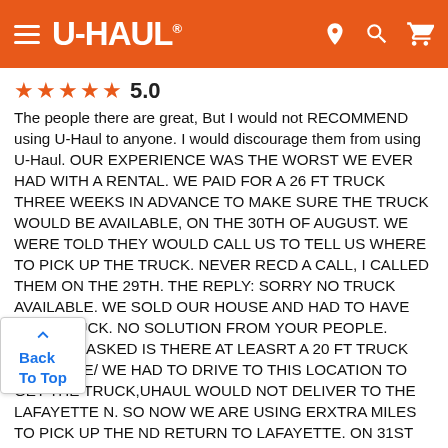U-HAUL
★★★★★ 5.0
The people there are great, But I would not RECOMMEND using U-Haul to anyone. I would discourage them from using U-Haul. OUR EXPERIENCE WAS THE WORST WE EVER HAD WITH A RENTAL. WE PAID FOR A 26 FT TRUCK THREE WEEKS IN ADVANCE TO MAKE SURE THE TRUCK WOULD BE AVAILABLE, ON THE 30TH OF AUGUST. WE WERE TOLD THEY WOULD CALL US TO TELL US WHERE TO PICK UP THE TRUCK. NEVER RECD A CALL, I CALLED THEM ON THE 29TH. THE REPLY: SORRY NO TRUCK AVAILABLE. WE SOLD OUR HOUSE AND HAD TO HAVE THAT TRUCK. NO SOLUTION FROM YOUR PEOPLE. FINALLY I ASKED IS THERE AT LEASRT A 20 FT TRUCK AVAILABLE/ WE HAD TO DRIVE TO THIS LOCATION TO GET THE TRUCK,UHAUL WOULD NOT DELIVER TO THE LAFAYETTE N. SO NOW WE ARE USING ERXTRA MILES TO PICK UP THE ND RETURN TO LAFAYETTE. ON 31ST WE LOADED THE UT NOT ROOM ENOUGH ON THE 20 FT TO LOAD ALL OUR BELONGINGS. sO NOW WE NEED A TRAILER TO LOAD THE REST OF